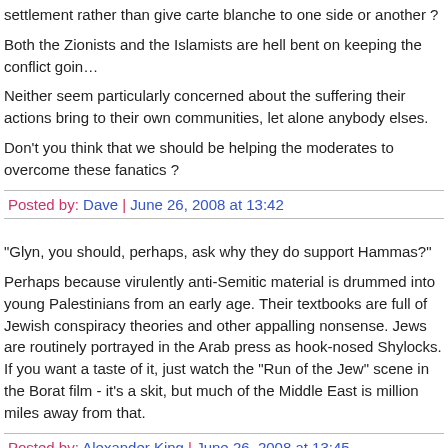settlement rather than give carte blanche to one side or another ?
Both the Zionists and the Islamists are hell bent on keeping the conflict goin…
Neither seem particularly concerned about the suffering their actions bring to their own communities, let alone anybody elses.
Don't you think that we should be helping the moderates to overcome these fanatics ?
Posted by: Dave | June 26, 2008 at 13:42
"Glyn, you should, perhaps, ask why they do support Hammas?"
Perhaps because virulently anti-Semitic material is drummed into young Palestinians from an early age. Their textbooks are full of Jewish conspiracy theories and other appalling nonsense. Jews are routinely portrayed in the Arab press as hook-nosed Shylocks. If you want a taste of it, just watch the "Run of the Jew" scene in the Borat film - it's a skit, but much of the Middle East is million miles away from that.
Posted by: Alexander King | June 26, 2008 at 13:45
'. . . let's not forget the Conservative Middle East Council (which, unlike CF…